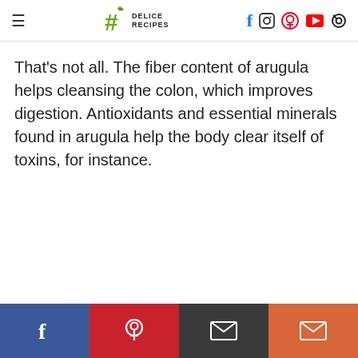Delice Recipes — navigation header with logo and social icons
That's not all. The fiber content of arugula helps cleansing the colon, which improves digestion. Antioxidants and essential minerals found in arugula help the body clear itself of toxins, for instance.
Social sharing bar: Facebook, Pinterest, Email, Email